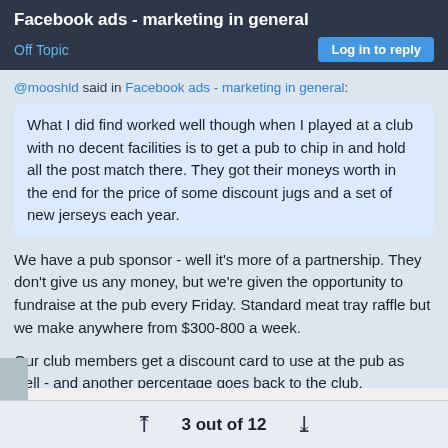Facebook ads - marketing in general
Off Topic
Log in to reply
@mooshld said in Facebook ads - marketing in general:
What I did find worked well though when I played at a club with no decent facilities is to get a pub to chip in and hold all the post match there. They got their moneys worth in the end for the price of some discount jugs and a set of new jerseys each year.
We have a pub sponsor - well it's more of a partnership. They don't give us any money, but we're given the opportunity to fundraise at the pub every Friday. Standard meat tray raffle but we make anywhere from $300-800 a week.
Our club members get a discount card to use at the pub as well - and another percentage goes back to the club.
3 out of 12